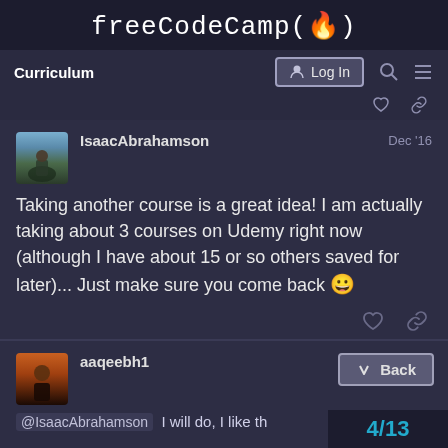freeCodeCamp(🔥)
Curriculum
Log In
IsaacAbrahamson   Dec '16
Taking another course is a great idea! I am actually taking about 3 courses on Udemy right now (although I have about 15 or so others saved for later)... Just make sure you come back 😀
aaqeebh1   Dec '16
@IsaacAbrahamson  I will do, I like th
Back
4/13